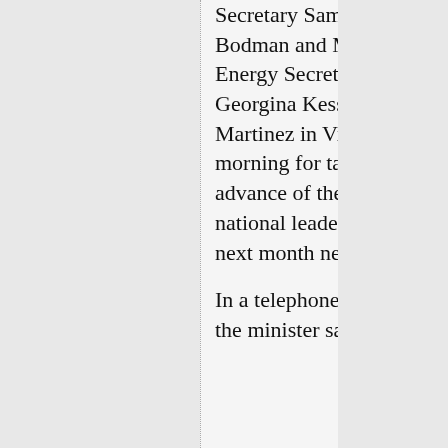Secretary Samuel Bodman and Mexican Energy Secretary Georgina Kessel Martinez in Victoria this morning for talks in advance of the three national leaders meeting next month near Ottawa.

In a telephone interview, the minister said the